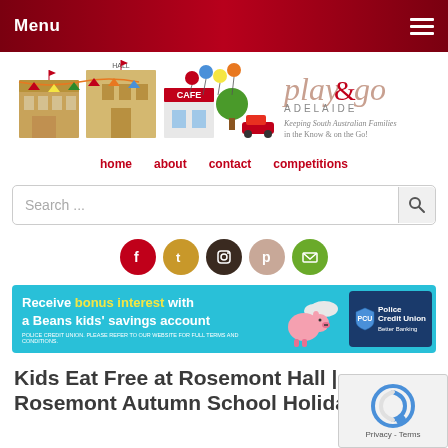Menu
[Figure (logo): Play & Go Adelaide website logo with illustrated buildings, cafe, balloons, car, and tagline 'Keeping South Australian Families in the Know & on the Go!']
home   about   contact   competitions
Search ...
[Figure (infographic): Social media icons row: Facebook (red), Tumblr (orange/gold), Instagram (dark brown), Pinterest (beige/pink), Email (green)]
[Figure (infographic): Advertisement banner: 'Receive bonus interest with a Beans kids' savings account' - Police Credit Union, teal background with piggy bank illustration]
Kids Eat Free at Rosemont Hall | Rosemont Autumn School Holiday...